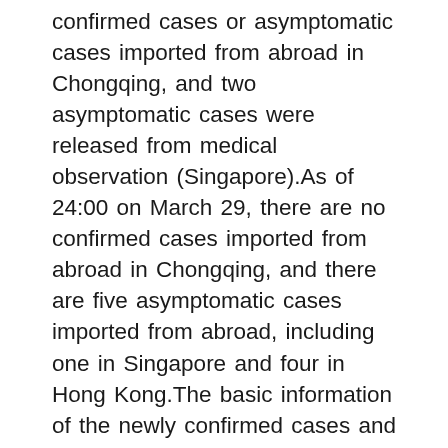confirmed cases or asymptomatic cases imported from abroad in Chongqing, and two asymptomatic cases were released from medical observation (Singapore).As of 24:00 on March 29, there are no confirmed cases imported from abroad in Chongqing, and there are five asymptomatic cases imported from abroad, including one in Singapore and four in Hong Kong.The basic information of the newly confirmed cases and asymptomatic infected persons in Chongqing on March 29 is as follows: Confirmed case 1 in Yunyang County was a person who returned to Yunyang County from outside the city by car on March 27 and returned to Yunyang County on March 28 for nucleic acid testing as required by the local community.On March 29, a confirmed case of